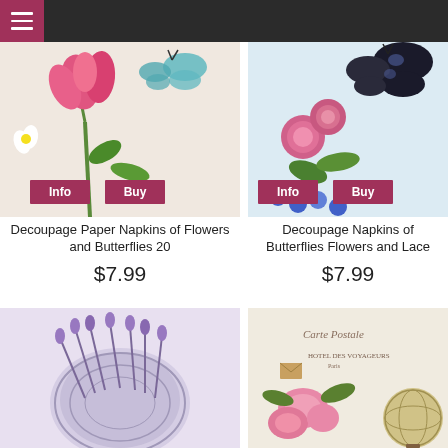Navigation menu
[Figure (photo): Decoupage paper napkin with pink tulips and butterfly on floral background, with Info and Buy buttons overlay]
Decoupage Paper Napkins of Flowers and Butterflies 20
$7.99
[Figure (photo): Decoupage napkin with pink roses, blue flowers, and dark butterfly on patterned background, with Info and Buy buttons overlay]
Decoupage Napkins of Butterflies Flowers and Lace
$7.99
[Figure (photo): Decoupage napkin with lavender in a round basket on light purple background]
[Figure (photo): Decoupage napkin with pink magnolia flowers, globe and vintage Carte Postale Hotel des Voyageurs travel theme]